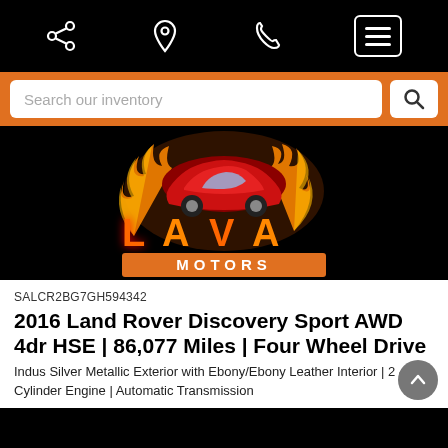Navigation bar with share, location, phone, and menu icons
Search our inventory
[Figure (logo): Lava Motors logo — a red sports car engulfed in flames above the text LAVA in fiery orange letters and MOTORS on an orange rectangle banner]
SALCR2BG7GH594342
2016 Land Rover Discovery Sport AWD 4dr HSE | 86,077 Miles | Four Wheel Drive
Indus Silver Metallic Exterior with Ebony/Ebony Leather Interior | 2 4 Cylinder Engine | Automatic Transmission